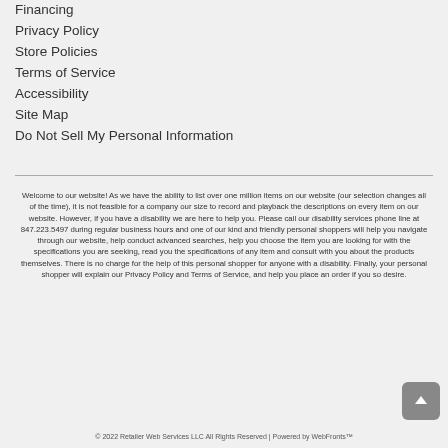Financing
Privacy Policy
Store Policies
Terms of Service
Accessibility
Site Map
Do Not Sell My Personal Information
Welcome to our website! As we have the ability to list over one million items on our website (our selection changes all of the time), it is not feasible for a company our size to record and playback the descriptions on every item on our website. However, if you have a disability we are here to help you. Please call our disability services phone line at 847.223.5497 during regular business hours and one of our kind and friendly personal shoppers will help you navigate through our website, help conduct advanced searches, help you choose the item you are looking for with the specifications you are seeking, read you the specifications of any item and consult with you about the products themselves. There is no charge for the help of this personal shopper for anyone with a disability. Finally, your personal shopper will explain our Privacy Policy and Terms of Service, and help you place an order if you so desire.
© 2022 Retailer Web Services LLC All Rights Reserved | Powered by WebFronts™